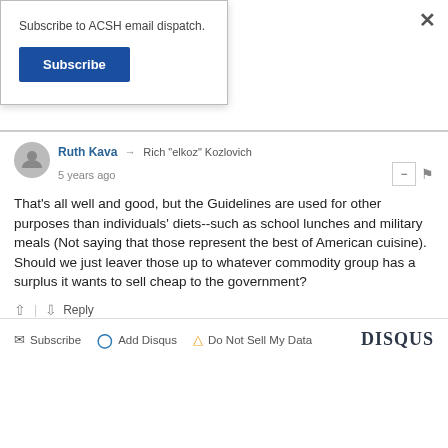Subscribe to ACSH email dispatch.
Subscribe
Ruth Kava → Rich "elkoz" Kozlovich
5 years ago
That's all well and good, but the Guidelines are used for other purposes than individuals' diets--such as school lunches and military meals (Not saying that those represent the best of American cuisine). Should we just leaver those up to whatever commodity group has a surplus it wants to sell cheap to the government?
↑ | ↓ Reply
✉ Subscribe  ⊙ Add Disqus  ⚠ Do Not Sell My Data  DISQUS